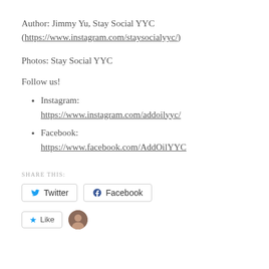Author: Jimmy Yu, Stay Social YYC (https://www.instagram.com/staysocialyyc/)
Photos: Stay Social YYC
Follow us!
Instagram:
https://www.instagram.com/addoilyyc/
Facebook:
https://www.facebook.com/AddOilYYC
SHARE THIS:
Twitter  Facebook
Like